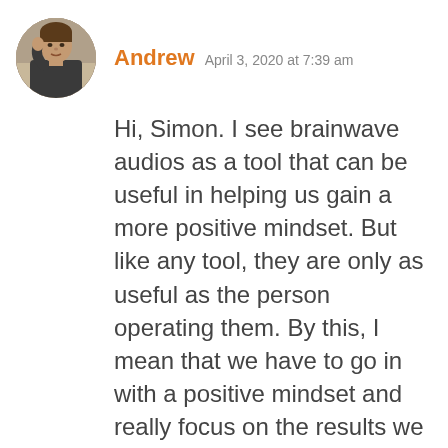[Figure (photo): Circular avatar photo of a person named Andrew, showing a man with short hair against an indoor background.]
Andrew   April 3, 2020 at 7:39 am
Hi, Simon. I see brainwave audios as a tool that can be useful in helping us gain a more positive mindset. But like any tool, they are only as useful as the person operating them. By this, I mean that we have to go in with a positive mindset and really focus on the results we wish to achieve, without allowing conflicting thoughts to arise that will take us away from our goals.
Our success in all things depends on how much effort we are willing to invest to create the outcome we